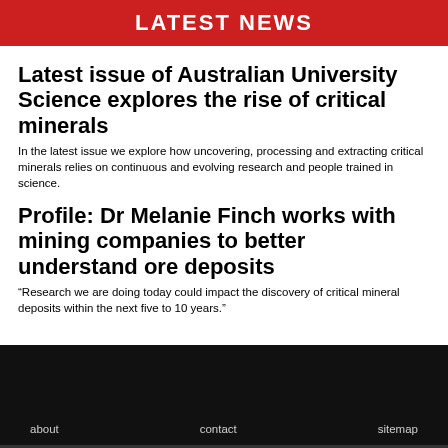LATEST NEWS
Latest issue of Australian University Science explores the rise of critical minerals
In the latest issue we explore how uncovering, processing and extracting critical minerals relies on continuous and evolving research and people trained in science.
Profile: Dr Melanie Finch works with mining companies to better understand ore deposits
“Research we are doing today could impact the discovery of critical mineral deposits within the next five to 10 years.”
about   contact   sitemap